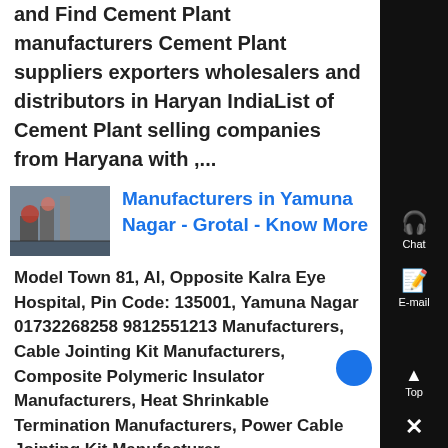and Find Cement Plant manufacturers Cement Plant suppliers exporters wholesalers and distributors in Haryana IndiaList of Cement Plant selling companies from Haryana with ,...
[Figure (photo): Thumbnail image of industrial cement plant machinery]
Manufacturers in Yamuna Nagar - Grotal - Know More
Model Town 81, Al, Opposite Kalra Eye Hospital, Pin Code: 135001, Yamuna Nagar 01732268258 9812551213 Manufacturers, Cable Jointing Kit Manufacturers, Composite Polymeric Insulator Manufacturers, Heat Shrinkable Termination Manufacturers, Power Cable Jointing Kit Manufacturer